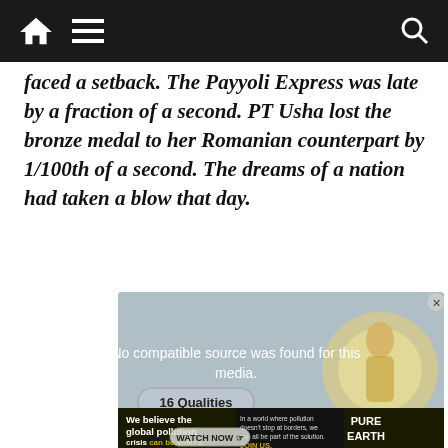[Navigation bar with home, menu, and search icons]
faced a setback. The Payyoli Express was late by a fraction of a second. PT Usha lost the bronze medal to her Romanian counterpart by 1/100th of a second. The dreams of a nation had taken a blow that day.
[Figure (screenshot): Video player showing 'No compatible source was found for this media.' message with a religious figure graphic on the right. Below is an advertisement banner: 'We believe the global pollution crisis can be solved.' with Pure Earth branding. A 'WATCH NOW' button is at the bottom.]